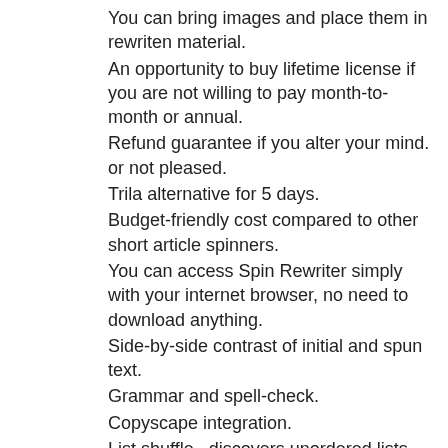You can bring images and place them in rewriten material.
An opportunity to buy lifetime license if you are not willing to pay month-to-month or annual.
Refund guarantee if you alter your mind. or not pleased.
Trila alternative for 5 days.
Budget-friendly cost compared to other short article spinners.
You can access Spin Rewriter simply with your internet browser, no need to download anything.
Side-by-side contrast of initial and spun text.
Grammar and spell-check.
Copyscape integration.
List shuffle– discovers unordered lists and puts the aspects in an entirely new order.
Bulk Post Spinning.
Guides and tutorials.
Spin Rewriter Cons